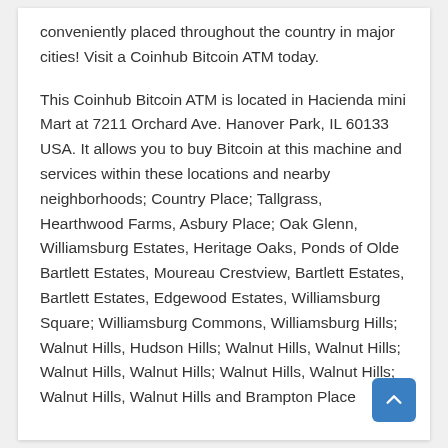conveniently placed throughout the country in major cities! Visit a Coinhub Bitcoin ATM today.
This Coinhub Bitcoin ATM is located in Hacienda mini Mart at 7211 Orchard Ave. Hanover Park, IL 60133 USA. It allows you to buy Bitcoin at this machine and services within these locations and nearby neighborhoods; Country Place; Tallgrass, Hearthwood Farms, Asbury Place; Oak Glenn, Williamsburg Estates, Heritage Oaks, Ponds of Olde Bartlett Estates, Moureau Crestview, Bartlett Estates, Bartlett Estates, Edgewood Estates, Williamsburg Square; Williamsburg Commons, Williamsburg Hills; Walnut Hills, Hudson Hills; Walnut Hills, Walnut Hills; Walnut Hills, Walnut Hills; Walnut Hills, Walnut Hills; Walnut Hills, Walnut Hills and Brampton Place